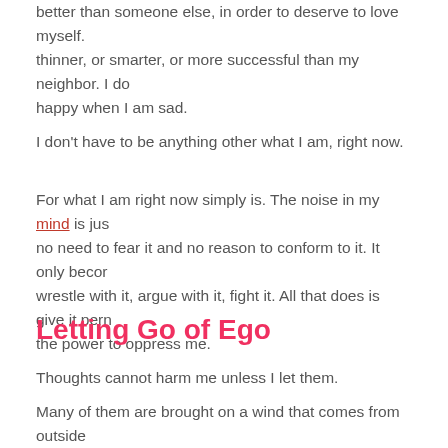better than someone else, in order to deserve to love myself. thinner, or smarter, or more successful than my neighbor. I do happy when I am sad.
I don't have to be anything other what I am, right now.
For what I am right now simply is. The noise in my mind is jus no need to fear it and no reason to conform to it. It only becor wrestle with it, argue with it, fight it. All that does is give it pern the power to oppress me.
Letting Go of Ego
Thoughts cannot harm me unless I let them.
Many of them are brought on a wind that comes from outside culture that constantly compares what reality is with what it im
When we give up the quest to be who or what our mind imagi interest in the mental chatter, and a quietness arises.